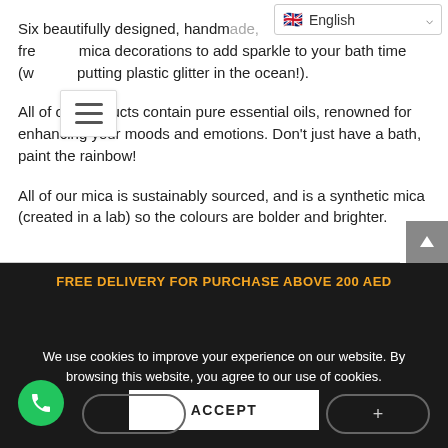Six beautifully designed, handmade, free mica decorations to add sparkle to your bath time (without putting plastic glitter in the ocean!).
All of our products contain pure essential oils, renowned for enhancing your moods and emotions. Don't just have a bath, paint the rainbow!
All of our mica is sustainably sourced, and is a synthetic mica (created in a lab) so the colours are bolder and brighter.
FREE DELIVERY FOR PURCHASE ABOVE 200 AED
We use cookies to improve your experience on our website. By browsing this website, you agree to our use of cookies.